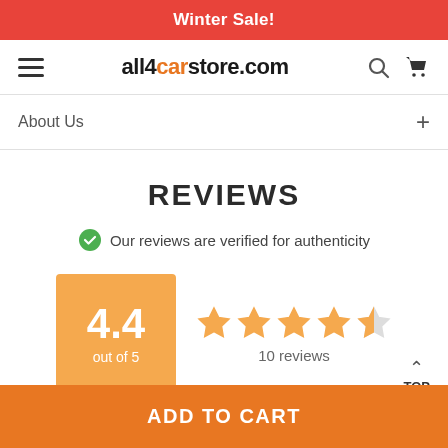Winter Sale!
[Figure (screenshot): Navigation bar with hamburger menu, all4carstore.com logo, search and cart icons]
About Us +
REVIEWS
Our reviews are verified for authenticity
[Figure (other): Rating box showing 4.4 out of 5 with 4.5 star rating and 10 reviews]
ADD TO CART